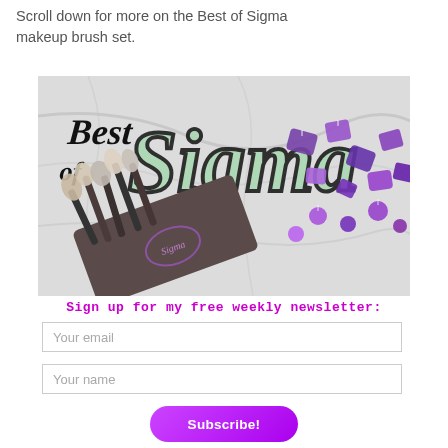Scroll down for more on the Best of Sigma makeup brush set.
[Figure (photo): Best of Sigma makeup brush set promotional image showing makeup brushes in a dark case with purple gemstones on a marble background, with 'Best of Sigma' text logo in black and mint/pink colors]
Sign up for my free weekly newsletter:
Your email
Your name
Subscribe!